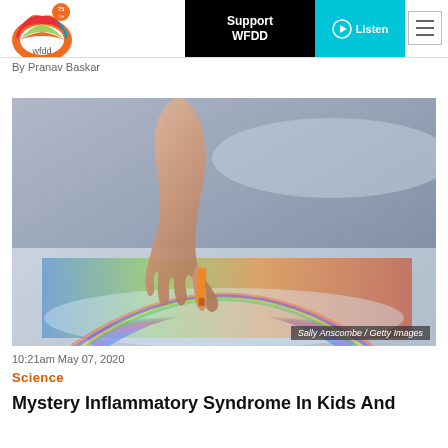WFDD 75th Anniversary — Support WFDD | Listen
By Pranav Baskar
[Figure (photo): Close-up photo of a child's hand pointing at or coloring a page, with colorful art supplies visible. Photo credit: Sally Anscombe / Getty Images.]
Sally Anscombe / Getty Images
10:21am May 07, 2020
Science
Mystery Inflammatory Syndrome In Kids And